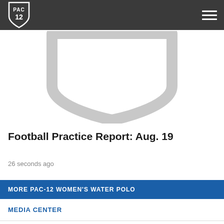[Figure (logo): PAC-12 shield logo in white on dark gray navigation bar]
[Figure (illustration): Large gray PAC-12 shield outline on white background]
Football Practice Report: Aug. 19
26 seconds ago
MORE PAC-12 WOMEN'S WATER POLO
MEDIA CENTER
SCHEDULE
YEAR IN REVIEW